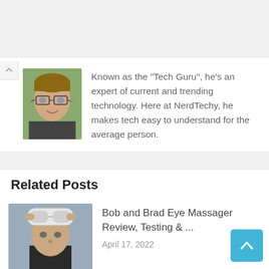[Figure (photo): Author photo: young man with glasses, light brown hair, smiling, in an outdoor setting with greenery]
Known as the "Tech Guru", he's an expert of current and trending technology. Here at NerdTechy, he makes tech easy to understand for the average person.
Related Posts
[Figure (photo): Thumbnail photo of a man wearing white eye massager goggles on his head, grey background]
Bob and Brad Eye Massager Review, Testing & ...
April 17, 2022